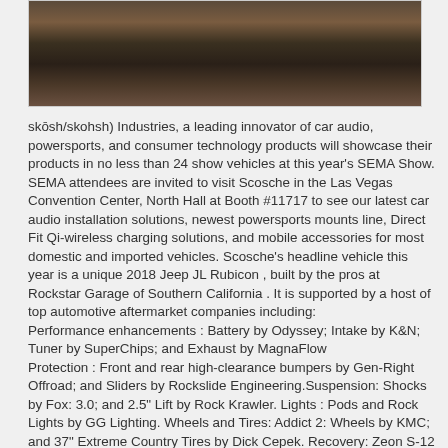[Figure (photo): Off-road vehicle (Jeep) on rocky terrain with red rock formations in background]
skōsh/skohsh) Industries, a leading innovator of car audio, powersports, and consumer technology products will showcase their products in no less than 24 show vehicles at this year's SEMA Show. SEMA attendees are invited to visit Scosche in the Las Vegas Convention Center, North Hall at Booth #11717 to see our latest car audio installation solutions, newest powersports mounts line, Direct Fit Qi-wireless charging solutions, and mobile accessories for most domestic and imported vehicles. Scosche's headline vehicle this year is a unique 2018 Jeep JL Rubicon , built by the pros at Rockstar Garage of Southern California . It is supported by a host of top automotive aftermarket companies including: Performance enhancements : Battery by Odyssey; Intake by K&N; Tuner by SuperChips; and Exhaust by MagnaFlow Protection : Front and rear high-clearance bumpers by Gen-Right Offroad; and Sliders by Rockslide Engineering.Suspension: Shocks by Fox: 3.0; and 2.5" Lift by Rock Krawler. Lights : Pods and Rock Lights by GG Lighting. Wheels and Tires: Addict 2: Wheels by KMC; and 37" Extreme Country Tires by Dick Cepek. Recovery: Zeon S-12 Winch by Warn; and Fair Lead by Factor 55. Miscellaneous: Bantam 8 Switch Control System by sPOD; CO2 Air System by PowerTank.; Electric Cooler by Dometic; and Rooftop Tent by CVT. The Jeep wouldn't be complete without road-tested Scosche products including Magic Mount™ Pro Wireless/Dash...